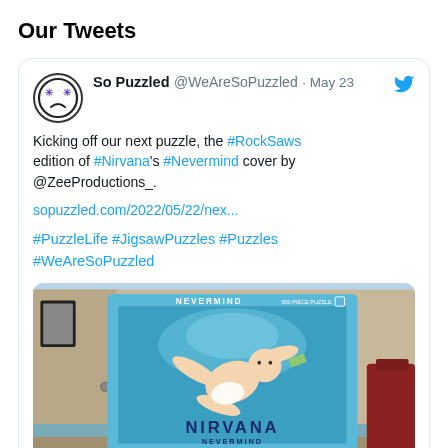Our Tweets
So Puzzled @WeAreSoPuzzled · May 23
Kicking off our next puzzle, the #RockSaws edition of #Nirvana's #Nevermind cover by @ZeeProductions_.
sopuzzled.com/2022/05/22/nex...
#PuzzleLife #JigsawPuzzles #Puzzles #WeAreSoPuzzled
[Figure (photo): Photo of the Nirvana Nevermind jigsaw puzzle box showing a baby swimming underwater, with the word NIRVANA at the bottom, displayed in a room setting. The sopuzzled.com watermark is at the bottom.]